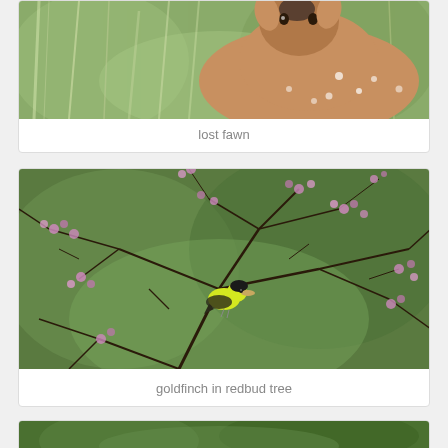[Figure (photo): A spotted fawn (baby deer) standing among green vegetation and tall grass, looking toward the camera. Photo is partially cropped at top.]
lost fawn
[Figure (photo): A bright yellow goldfinch perched on a bare branch of a redbud tree in bloom, with pink/purple blossoms and a green blurred background.]
goldfinch in redbud tree
[Figure (photo): Partial view of another photo at the bottom, showing green foliage. Caption not visible.]